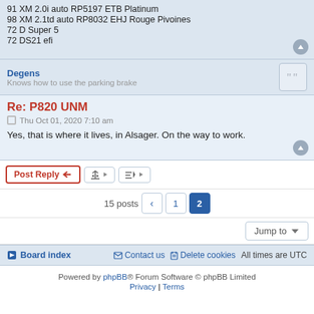91 XM 2.0i auto RP5197 ETB Platinum
98 XM 2.1td auto RP8032 EHJ Rouge Pivoines
72 D Super 5
72 DS21 efi
Degens
Knows how to use the parking brake
Re: P820 UNM
Thu Oct 01, 2020 7:10 am
Yes, that is where it lives, in Alsager. On the way to work.
Post Reply | Tools | Sort
15 posts  1  2
Jump to
Board index  Contact us  Delete cookies  All times are UTC
Powered by phpBB® Forum Software © phpBB Limited
Privacy | Terms